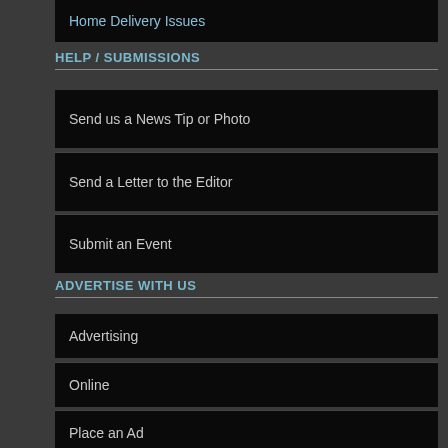Home Delivery Issues
HELP / SUBMISSIONS
Send us a News Tip or Photo
Send a Letter to the Editor
Submit an Event
ADVERTISE WITH US
Advertising
Online
Place an Ad
RESOURCES
Elected Officials